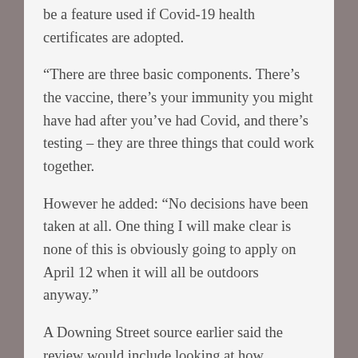be a feature used if Covid-19 health certificates are adopted.
“There are three basic components. There’s the vaccine, there’s your immunity you might have had after you’ve had Covid, and there’s testing – they are three things that could work together.
However he added: “No decisions have been taken at all. One thing I will make clear is none of this is obviously going to apply on April 12 when it will all be outdoors anyway.”
A Downing Street source earlier said the review would include looking at how people’s vaccination and testing status could be stored securely and displayed on a mobile phone, and the circumstances under which such a system could apply.
MPs will vote later on new coronavirus laws for England’s roadmap out of lockdown.